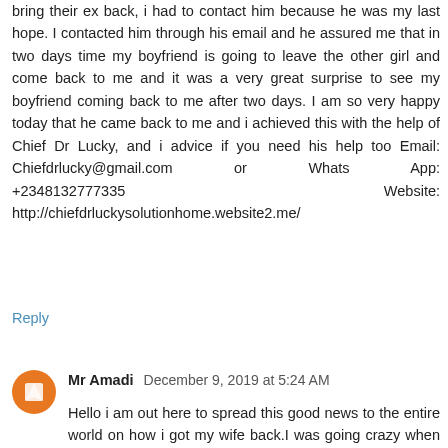bring their ex back, i had to contact him because he was my last hope. I contacted him through his email and he assured me that in two days time my boyfriend is going to leave the other girl and come back to me and it was a very great surprise to see my boyfriend coming back to me after two days. I am so very happy today that he came back to me and i achieved this with the help of Chief Dr Lucky, and i advice if you need his help too Email: Chiefdrlucky@gmail.com or Whats App: +2348132777335 Website: http://chiefdrluckysolutionhome.website2.me/
Reply
Mr Amadi December 9, 2019 at 5:24 AM
Hello i am out here to spread this good news to the entire world on how i got my wife back.I was going crazy when my wife left me for another man last month,But when i meet a friend that introduce me to DR Ogbe the great messenger to the oracle that he serve,I narrated my problem to DR Ogbe about how my wife left me. He only said to me that i